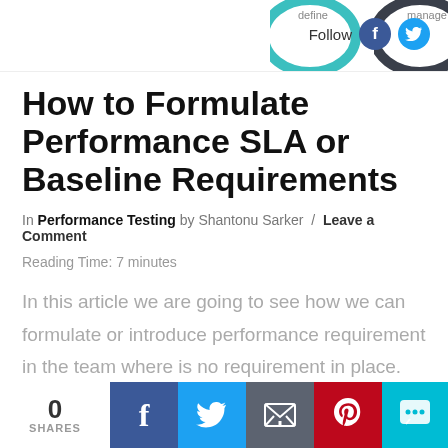[Figure (illustration): Partial circular icons with labels 'define' and 'manage' in teal and dark gray, partial view of a site logo/navigation]
Follow
How to Formulate Performance SLA or Baseline Requirements
In Performance Testing by Shantonu Sarker / Leave a Comment
Reading Time: 7 minutes
In this article we are going to see how we can formulate or introduce performance requirement in the team where is no requirement in place. Mainly we will see how ...
0 SHARES | Facebook | Twitter | Email | Pinterest | Chat